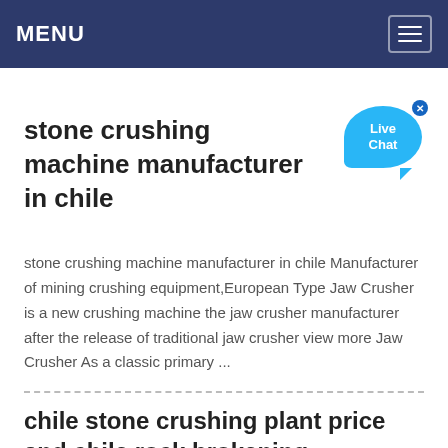MENU
stone crushing machine manufacturer in chile
[Figure (illustration): Live Chat widget bubble in blue with close button]
stone crushing machine manufacturer in chile Manufacturer of mining crushing equipment,European Type Jaw Crusher is a new crushing machine the jaw crusher manufacturer after the release of traditional jaw crusher view more Jaw Crusher As a classic primary ...
chile stone crushing plant price and chile rock brokening